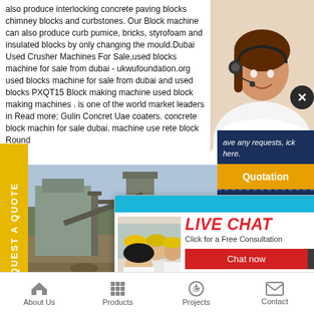also produce interlocking concrete paving blocks chimney blocks and curbstones. Our Block machine can also produce curb pumice, bricks, styrofoam and insulated blocks by only changing the mould.Dubai Used Crusher Machines For Sale,used blocks machine for sale from dubai - ukwufoundation.org used blocks machine for sale from dubai and used blocks PXQT15 Block making machine used block making machines . is one of the world market leaders in Read more; Gulin Concret Uae coaters. concrete block machin for sale dubai. machine use rete block Round
[Figure (photo): Customer service representative woman wearing headset, smiling]
[Figure (photo): Industrial machinery / block making equipment outdoor scene]
[Figure (screenshot): Live chat popup overlay with consultant photo, LIVE CHAT heading in red italic, Chat now and Chat later buttons]
REQUEST A QUOTE
ave any requests, ick here.
Quotation
Enquiry
drobilkalm@gmail.com
About Us   Products   Projects   Contact